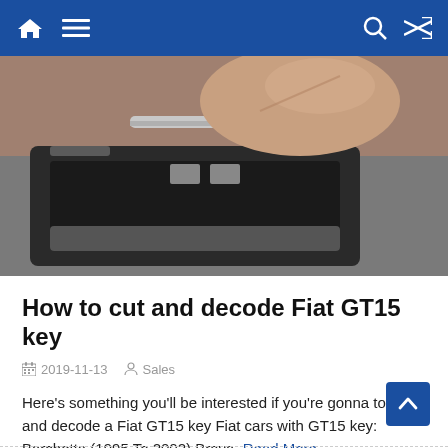Navigation bar with home, menu, search, and shuffle icons
[Figure (photo): Close-up photo of a hand holding a Fiat GT15 car key blade over an open key fob/transponder case on a grey surface]
How to cut and decode Fiat GT15 key
2019-11-13   Sales
Here's something you'll be interested if you're gonna to cut and decode a Fiat GT15 key Fiat cars with GT15 key: Barchetta (1995 To 2002) Brava  Read More...